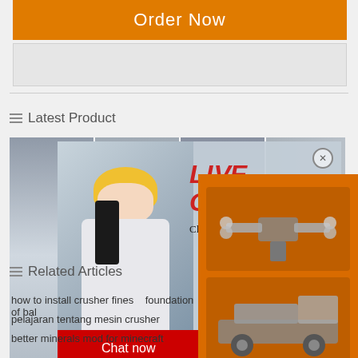[Figure (screenshot): Orange 'Order Now' button]
[Figure (screenshot): Gray empty rectangle placeholder]
Latest Product
[Figure (screenshot): Live chat popup overlay with worker in yellow hard hat, 'LIVE CHAT' title, 'Click for a Free Consultation' subtitle, Chat now and Chat later buttons, overlaid on product image strip]
[Figure (screenshot): Right sidebar showing construction machines on orange background, yellow discount bar with 'Enjoy 3% discount' and 'Click to Chat', brown Enquiry section, limingjlmofen@sina.com contact]
Related Articles
how to install crusher fines   foundation of bal
pelajaran tentang mesin crusher
better minerals mod for minecraft